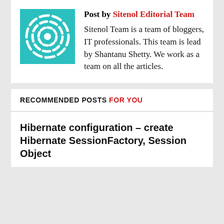[Figure (logo): Teal square with white circular concentric gear/target logo for Sitenol]
Post by Sitenol Editorial Team
Sitenol Team is a team of bloggers, IT professionals. This team is lead by Shantanu Shetty. We work as a team on all the articles.
RECOMMENDED POSTS FOR YOU
Hibernate configuration – create Hibernate SessionFactory, Session Object